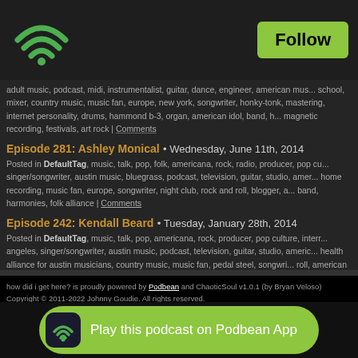[Figure (logo): Green WiFi signal icon logo in top left corner]
Follow
adult music, podcast, midi, instrumentalist, guitar, dance, engineer, american mus... school, mixer, country music, music fan, europe, new york, songwriter, honky-tonk, mastering, internet personality, drums, hammond b-3, organ, american idol, band, h... magnetic recording, festivals, art rock | Comments
Episode 281: Ashley Monical • Wednesday, June 11th, 2014
Posted in DefaultTag, music, talk, pop, folk, americana, rock, radio, producer, pop cu... singer/songwriter, austin music, bluegrass, podcast, television, guitar, studio, amer... home recording, music fan, europe, songwriter, night club, rock and roll, blogger, a... band, harmonies, folk alliance | Comments
Episode 242: Kendall Beard • Tuesday, January 28th, 2014
Posted in DefaultTag, music, talk, pop, americana, rock, producer, pop culture, interr... angeles, singer/songwriter, austin music, podcast, television, guitar, studio, americ... health alliance for austin musicians, country music, music fan, pedal steel, songwri... roll, american idol | Comments
how did i get here? is proudly powered by Podbean and ChaoticSoul v1.0.1 (by Bryan Veloso)
Copyright © 2011-2022 Johnny Goudie. All rights reserved.
[Figure (other): Green pill-shaped banner with Podbean app icon and text 'Play this podcast on Podbean App']